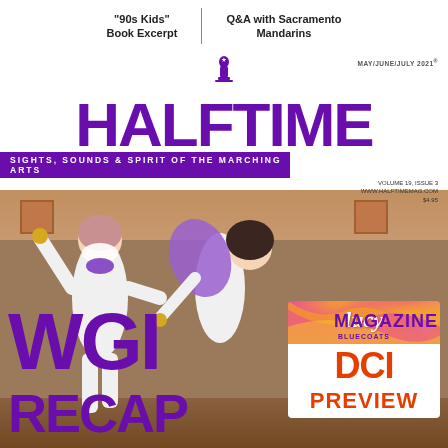"90s Kids" Book Excerpt | Q&A with Sacramento Mandarins
HALFTIME MAGAZINE
SIGHTS, SOUNDS & SPIRIT OF THE MARCHING ARTS
MAY/JUNE/JULY 2021 | VOLUME 19, ISSUE 3 | WWW.HALFTIMEMAG.COM | $4.95
[Figure (photo): Cover photo of two performers in white outfits and purple accessories, one lifting the other, both wearing masks, in a gym setting]
WGI
RECAP
[Figure (illustration): Lucy show logo for Bluecoats DCI with swirling pink, orange and yellow colors]
DCI PREVIEW